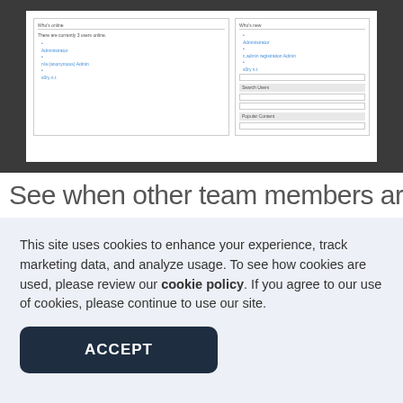[Figure (screenshot): Screenshot of a web application interface showing 'Who's online' and 'Who's new' panels with user lists, input fields, and section headers including 'Search Users' and 'Popular Content'.]
See when other team members are logged
This site uses cookies to enhance your experience, track marketing data, and analyze usage. To see how cookies are used, please review our cookie policy. If you agree to our use of cookies, please continue to use our site.
ACCEPT